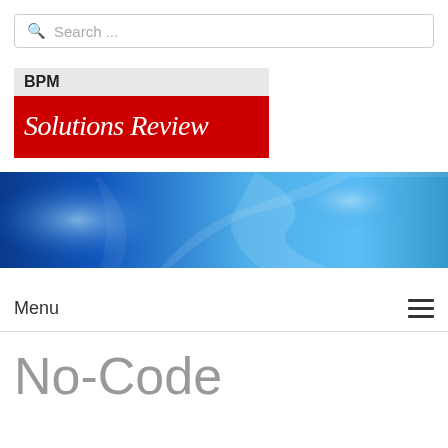Search ...
[Figure (logo): BPM Solutions Review logo — grey bar with BPM text above red bar with italic white Solutions Review text]
[Figure (photo): Blue gradient banner image with abstract swooping light curves on a deep blue background]
Menu
No-Code